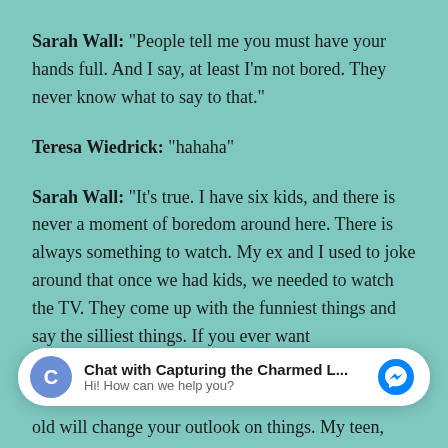Sarah Wall: “People tell me you must have your hands full. And I say, at least I’m not bored. They never know what to say to that.”
Teresa Wiedrick: “hahaha”
Sarah Wall: “It’s true. I have six kids, and there is never a moment of boredom around here. There is always something to watch. My ex and I used to joke around that once we had kids, we needed to watch the TV. They come up with the funniest things and say the silliest things. If you ever want
[Figure (screenshot): Facebook Messenger chat widget with 'C' icon, title 'Chat with Capturing the Charmed L...' and subtitle 'Hi! How can we help you?']
old will change your outlook on things. My teen,